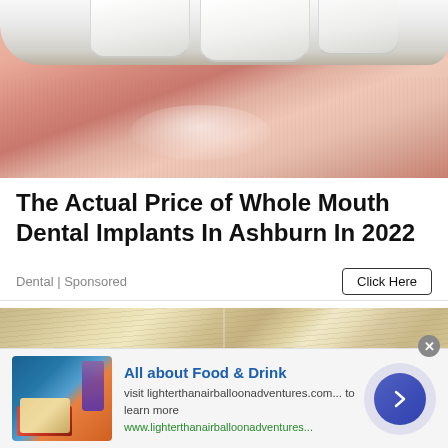[Figure (photo): Close-up photo of an open mouth showing white teeth and pink lips with a glossy highlight]
The Actual Price of Whole Mouth Dental Implants In Ashburn In 2022
Dental | Sponsored
Click Here
[Figure (photo): Back of a blonde woman's head showing hair parted in the middle, with a blurred background]
[Figure (photo): Ad banner: food and drink image with wine glass and plate of food]
All about Food & Drink
visit lighterthanairballoonadventures.com... to learn more
www.lighterthanairballoonadventures...